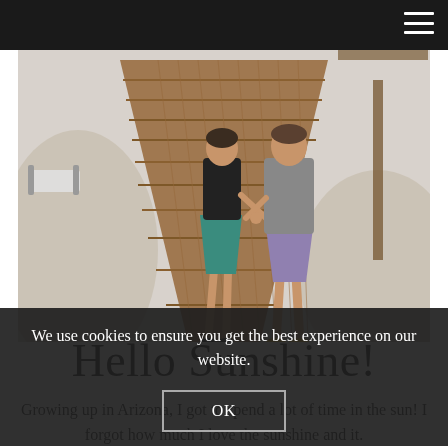[Figure (photo): A couple holding hands walking along a wooden boardwalk on a sandy beach. The woman is wearing a black top and teal skirt, the man is wearing a gray shirt and purple shorts. Beach chairs and a rustic wooden structure visible in the background.]
Hello Sunshine!
Growing up in Arizona, I got to spend a lot of time in the sun! I forgot how much I love the sunshine and it.
We use cookies to ensure you get the best experience on our website.
OK